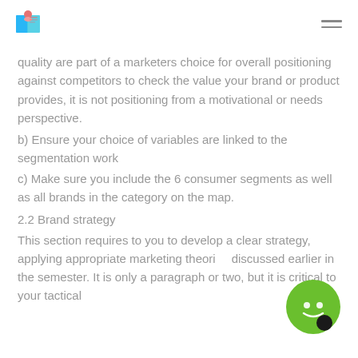quality are part of a marketers choice for overall positioning against competitors to check the value your brand or product provides, it is not positioning from a motivational or needs perspective.
b) Ensure your choice of variables are linked to the segmentation work
c) Make sure you include the 6 consumer segments as well as all brands in the category on the map.
2.2 Brand strategy
This section requires to you to develop a clear strategy, applying appropriate marketing theories discussed earlier in the semester. It is only a paragraph or two, but it is critical to your tactical